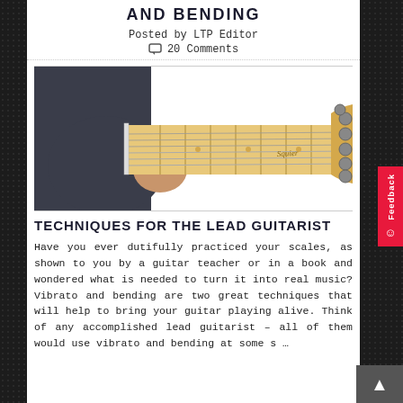AND BENDING
Posted by LTP Editor
20 Comments
[Figure (photo): Person holding a Squier electric guitar neck, showing the fretboard and headstock with tuning pegs]
TECHNIQUES FOR THE LEAD GUITARIST
Have you ever dutifully practiced your scales, as shown to you by a guitar teacher or in a book and wondered what is needed to turn it into real music? Vibrato and bending are two great techniques that will help to bring your guitar playing alive. Think of any accomplished lead guitarist – all of them would use vibrato and bending at some s …